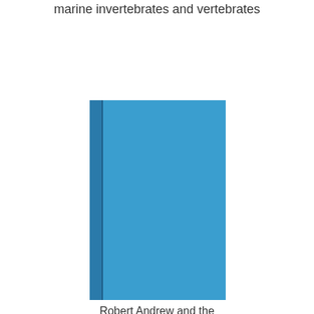marine invertebrates and vertebrates
[Figure (illustration): Blue book cover shown in perspective view with a darker blue spine on the left side]
Robert Andrew and the